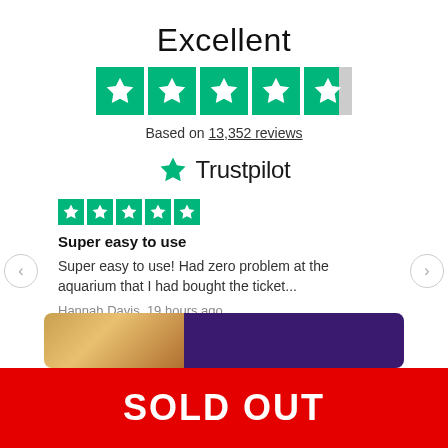Excellent
[Figure (other): Trustpilot 5-star rating display: 4 full green stars and 1 half green/grey star]
Based on 13,352 reviews
[Figure (logo): Trustpilot logo with green star icon and Trustpilot wordmark]
[Figure (other): 5 full green Trustpilot stars for individual review]
Super easy to use
Super easy to use! Had zero problem at the aquarium that I had bought the ticket...
Hannah Davis, 19 hours ago
Showing our 5 star reviews
[Figure (photo): Credit card image with gold left section and dark purple right section]
SOLD OUT